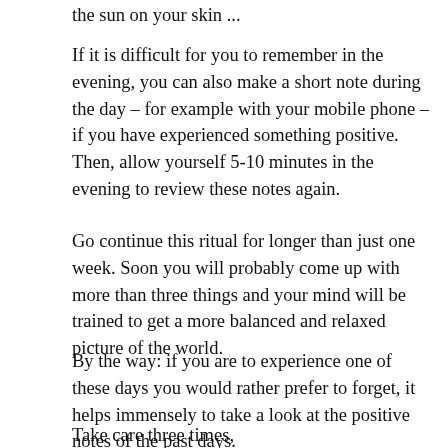the sun on your skin ...
If it is difficult for you to remember in the evening, you can also make a short note during the day – for example with your mobile phone – if you have experienced something positive. Then, allow yourself 5-10 minutes in the evening to review these notes again.
Go continue this ritual for longer than just one week. Soon you will probably come up with more than three things and your mind will be trained to get a more balanced and relaxed picture of the world.
By the way: if you are to experience one of these days you would rather prefer to forget, it helps immensely to take a look at the positive notes of the past days.
Take care three times,